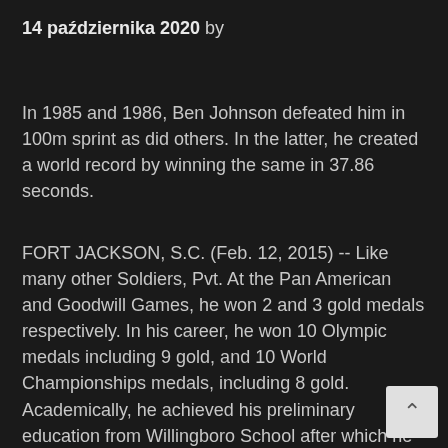14 października 2020 by
In 1985 and 1986, Ben Johnson defeated him in 100m sprint as did others. In the latter, he created a world record by winning the same in 37.86 seconds.
FORT JACKSON, S.C. (Feb. 12, 2015) -- Like many other Soldiers, Pvt. At the Pan American and Goodwill Games, he won 2 and 3 gold medals respectively. In his career, he won 10 Olympic medals including 9 gold, and 10 World Championships medals, including 8 gold. Academically, he achieved his preliminary education from Willingboro School after which he enrolled at the University of Houston. While his indoor long jump record stands